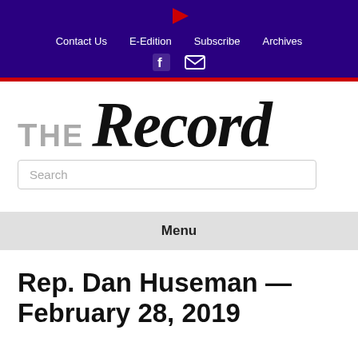Contact Us   E-Edition   Subscribe   Archives
[Figure (logo): The Record newspaper logo with red arrow icon, navigation links (Contact Us, E-Edition, Subscribe, Archives), Facebook and email icons on dark purple background with red bar]
The Record
Search
Menu
Rep. Dan Huseman — February 28, 2019